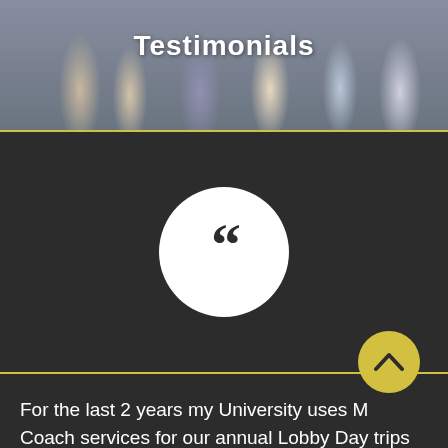Testimonials
[Figure (photo): Hero image of people walking, used as background for Testimonials header]
[Figure (illustration): White circle with large open quotation mark (66) on dark background]
For the last 2 years my University uses M Coach services for our annual Lobby Day trips to Sacramento and Carmina has always been super helpful to accommodate us and cost. M Coach has always provided us with clean and in good shape charter buses. Even the driver is wonderful and fun!! -